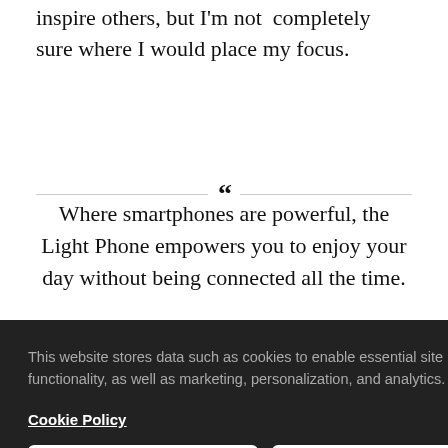I would also continue to translate ideas into ways to inspire others, but I'm not completely sure where I would place my focus.
Where smartphones are powerful, the Light Phone empowers you to enjoy your day without being connected all the time.
This website stores data such as cookies to enable essential site functionality, as well as marketing, personalization, and analytics.
Cookie Policy
Accept
Deny